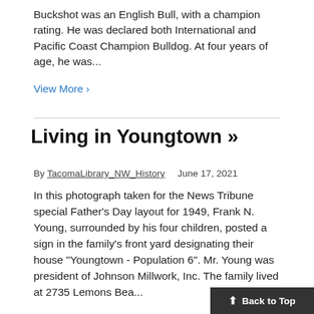Buckshot was an English Bull, with a champion rating. He was declared both International and Pacific Coast Champion Bulldog. At four years of age, he was...
View More >
Living in Youngtown »
By TacomaLibrary_NW_History   June 17, 2021
In this photograph taken for the News Tribune special Father's Day layout for 1949, Frank N. Young, surrounded by his four children, posted a sign in the family's front yard designating their house "Youngtown - Population 6". Mr. Young was president of Johnson Millwork, Inc. The family lived at 2735 Lemons Bea...